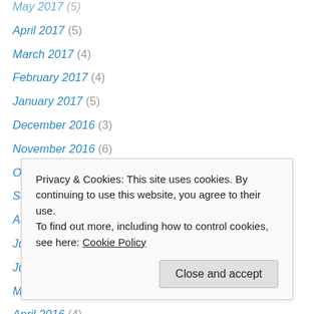April 2017 (5)
March 2017 (4)
February 2017 (4)
January 2017 (5)
December 2016 (3)
November 2016 (6)
October 2016 (7)
September 2016 (1)
August 2016 (4)
July 2016 (6)
June 2016 (5)
May 2016 (4)
April 2016 (4)
October 2015 (1)
Privacy & Cookies: This site uses cookies. By continuing to use this website, you agree to their use. To find out more, including how to control cookies, see here: Cookie Policy
Close and accept